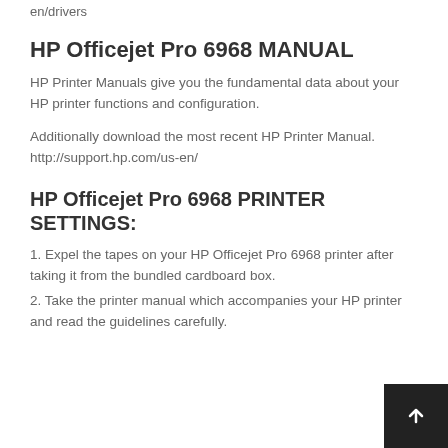en/drivers
HP Officejet Pro 6968 MANUAL
HP Printer Manuals give you the fundamental data about your HP printer functions and configuration.
Additionally download the most recent HP Printer Manual. http://support.hp.com/us-en/
HP Officejet Pro 6968 PRINTER SETTINGS:
1. Expel the tapes on your HP Officejet Pro 6968 printer after taking it from the bundled cardboard box.
2. Take the printer manual which accompanies your HP printer and read the guidelines carefully.